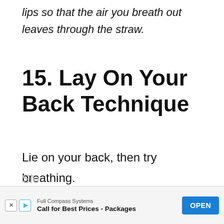lips so that the air you breath out leaves through the straw.
15. Lay On Your Back Technique
Lie on your back, then try breathing.
Slo
[Figure (other): Advertisement banner: Full Compass Systems - Call for Best Prices-Packages, with OPEN button]